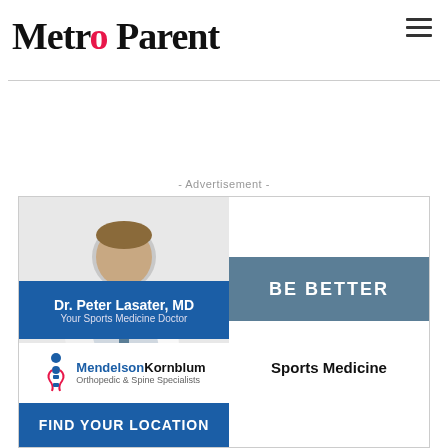Metro Parent
- Advertisement -
[Figure (photo): Advertisement for MendelsonKornblum Orthopedic & Spine Specialists featuring Dr. Peter Lasater, MD in a white coat. Shows a 'BE BETTER' banner, 'Sports Medicine' text, the doctor's name and title 'Your Sports Medicine Doctor', MendelsonKornblum logo with spine icon, and a 'FIND YOUR LOCATION' call-to-action button.]